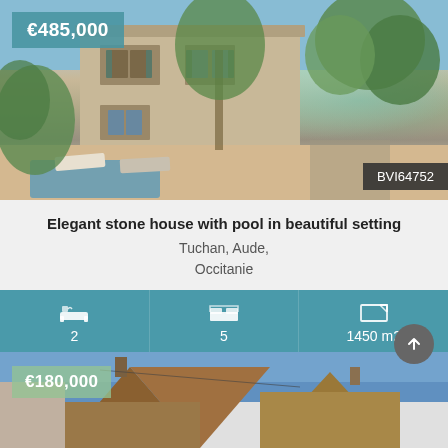[Figure (photo): Stone house with pool in garden setting, outdoor lounge chairs, trees in background, blue sky]
€485,000
BVI64752
Elegant stone house with pool in beautiful setting
Tuchan, Aude,
Occitanie
2
5
1450 m2
[Figure (photo): Old stone building rooftops against blue sky]
€180,000